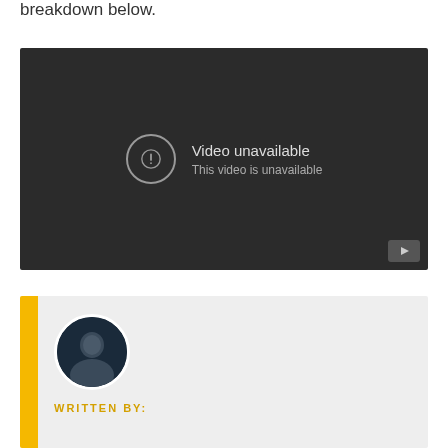breakdown below.
[Figure (screenshot): YouTube video player showing 'Video unavailable – This video is unavailable' error message on a dark background, with a YouTube logo button in the bottom right corner.]
[Figure (other): Author bio card with gold left border bar, circular author photo, and 'WRITTEN BY:' label in gold uppercase text on a light gray background.]